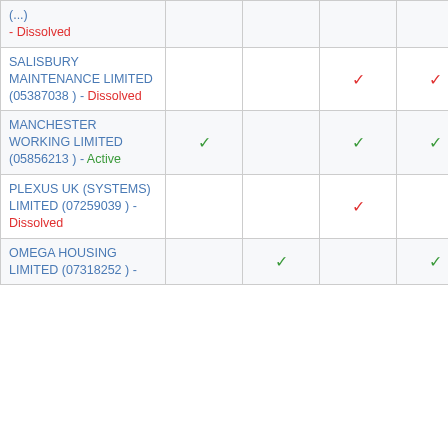| Company | Col1 | Col2 | Col3 | Col4 | Col5 |
| --- | --- | --- | --- | --- | --- |
| (...) - Dissolved |  |  |  |  |  |
| SALISBURY MAINTENANCE LIMITED (05387038) - Dissolved |  |  | ✓ | ✓ |  |
| MANCHESTER WORKING LIMITED (05856213) - Active | ✓ |  | ✓ | ✓ | ✓ |
| PLEXUS UK (SYSTEMS) LIMITED (07259039) - Dissolved |  |  | ✓ |  |  |
| OMEGA HOUSING LIMITED (07318252) - ... |  | ✓ |  | ✓ |  |